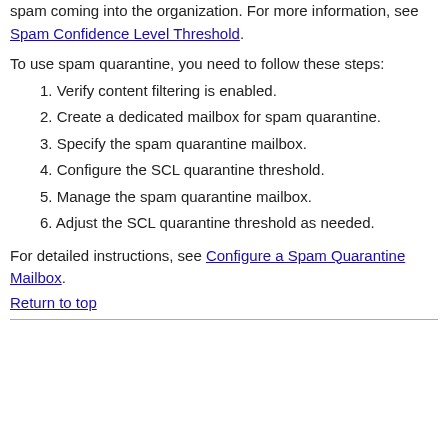spam coming into the organization. For more information, see Spam Confidence Level Threshold.
To use spam quarantine, you need to follow these steps:
1. Verify content filtering is enabled.
2. Create a dedicated mailbox for spam quarantine.
3. Specify the spam quarantine mailbox.
4. Configure the SCL quarantine threshold.
5. Manage the spam quarantine mailbox.
6. Adjust the SCL quarantine threshold as needed.
For detailed instructions, see Configure a Spam Quarantine Mailbox.
Return to top